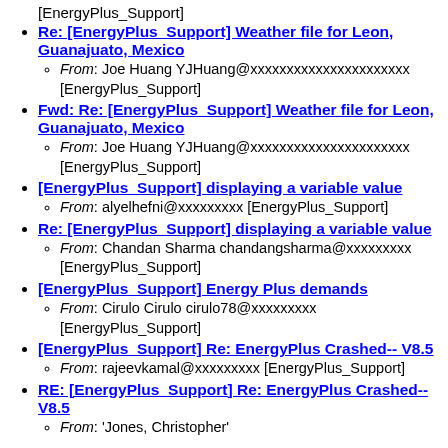[EnergyPlus_Support]
Re: [EnergyPlus_Support] Weather file for Leon, Guanajuato, Mexico
From: Joe Huang YJHuang@xxxxxxxxxxxxxxxxxxxxxx [EnergyPlus_Support]
Fwd: Re: [EnergyPlus_Support] Weather file for Leon, Guanajuato, Mexico
From: Joe Huang YJHuang@xxxxxxxxxxxxxxxxxxxxxx [EnergyPlus_Support]
[EnergyPlus_Support] displaying a variable value
From: alyelhefni@xxxxxxxxx [EnergyPlus_Support]
Re: [EnergyPlus_Support] displaying a variable value
From: Chandan Sharma chandangsharma@xxxxxxxxx [EnergyPlus_Support]
[EnergyPlus_Support] Energy Plus demands
From: Cirulo Cirulo cirulo78@xxxxxxxxx [EnergyPlus_Support]
[EnergyPlus_Support] Re: EnergyPlus Crashed-- V8.5
From: rajeevkamal@xxxxxxxxx [EnergyPlus_Support]
RE: [EnergyPlus_Support] Re: EnergyPlus Crashed-- V8.5
From: 'Jones, Christopher'